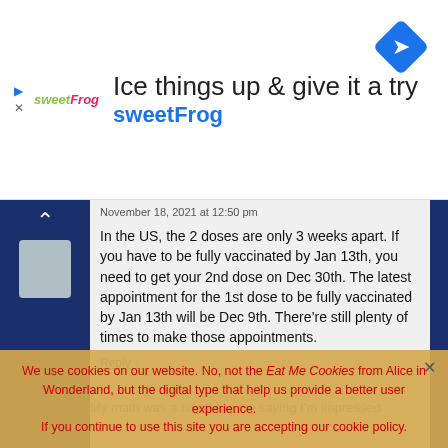[Figure (screenshot): SweetFrog advertisement banner with logo, tagline 'Ice things up & give it a try', sweetFrog brand name in blue, and a blue navigation diamond icon]
November 18, 2021 at 12:50 pm
In the US, the 2 doses are only 3 weeks apart. If you have to be fully vaccinated by Jan 13th, you need to get your 2nd dose on Dec 30th. The latest appointment for the 1st dose to be fully vaccinated by Jan 13th will be Dec 9th. There’re still plenty of times to make those appointments.
Reply ↓
We use cookies on our website. No, not the Eat Me Cookies from Alice in Wonderland, but the digital type that help us provide a better user experience.
If you continue to use this site you are accepting our cookie policy.
Accept    Read more
My math was a bit off but I’m saying I’m impressed